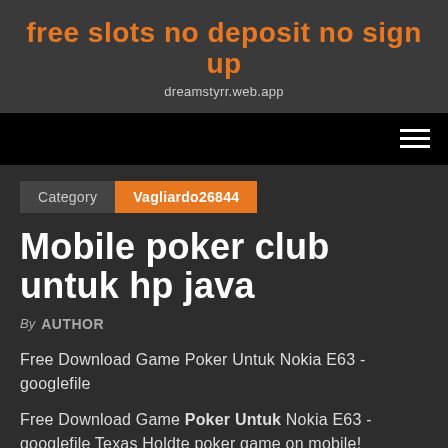free slots no deposit no sign up
dreamstyrr.web.app
[Figure (other): Navigation bar with hamburger menu icon (three horizontal lines) on black background]
Category   Vagliardo26844
Mobile poker club untuk hp java
By AUTHOR
Free Download Game Poker Untuk Nokia E63 - googlefile
Free Download Game Poker Untuk Nokia E63 - googlefile Texas Holdte poker game on mobile! Permainan Kartu